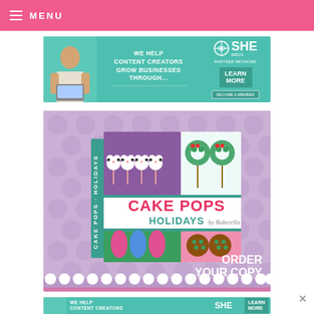≡ MENU
[Figure (infographic): SHE Media Partner Network advertisement banner: 'We Help Content Creators Grow Businesses Through...' with a woman at a laptop, SHE Media logo, LEARN MORE button, BECOME A MEMBER button]
[Figure (photo): Cake Pops Holidays by Bakerella book advertisement with holiday themed cake pops (polar bears, wreaths, stockings, ornaments) on a purple polka dot background with 'ORDER YOUR COPY' text]
[Figure (infographic): SHE Media Partner Network advertisement banner (repeated at bottom): 'We Help Content Creators Grow Businesses Through...' with same layout as top banner]